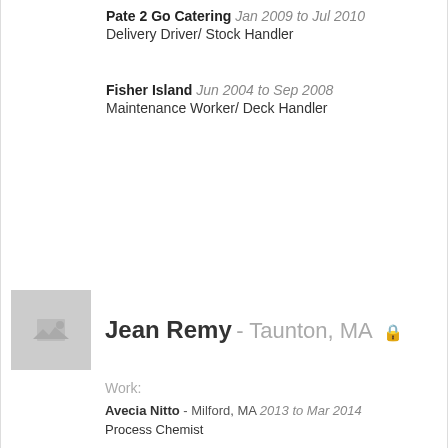Pate 2 Go Catering Jan 2009 to Jul 2010
Delivery Driver/ Stock Handler
Fisher Island Jun 2004 to Sep 2008
Maintenance Worker/ Deck Handler
Jean Remy - Taunton, MA
Work:
Avecia Nitto - Milford, MA 2013 to Mar 2014
Process Chemist
Analog Devices, Inc - Cambridge, MA 2007 to 2010
Process Technician
Allied Security, South Station Train Terminal - Boston, MA 2001 to 2007
Shift Supervisor
Education:
University of Rhode Island - Providence, RI 2011